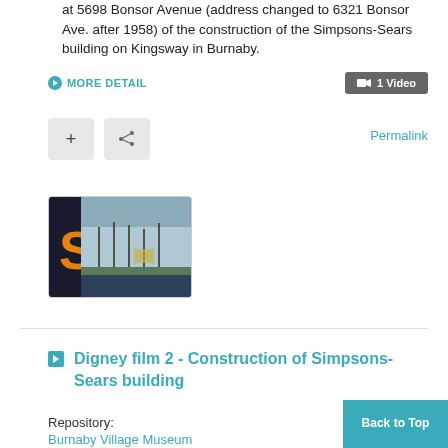at 5698 Bonsor Avenue (address changed to 6321 Bonsor Ave. after 1958) of the construction of the Simpsons-Sears building on Kingsway in Burnaby.
MORE DETAIL
1 Video
Permalink
[Figure (photo): Thumbnail photo of construction site, showing bare trees and construction in background with dark foreground]
Digney film 2 - Construction of Simpsons-Sears building
Repository:
Burnaby Village Museum
Back to Top